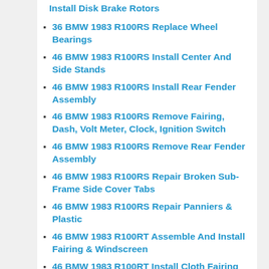Install Disk Brake Rotors
36 BMW 1983 R100RS Replace Wheel Bearings
46 BMW 1983 R100RS Install Center And Side Stands
46 BMW 1983 R100RS Install Rear Fender Assembly
46 BMW 1983 R100RS Remove Fairing, Dash, Volt Meter, Clock, Ignition Switch
46 BMW 1983 R100RS Remove Rear Fender Assembly
46 BMW 1983 R100RS Repair Broken Sub-Frame Side Cover Tabs
46 BMW 1983 R100RS Repair Panniers & Plastic
46 BMW 1983 R100RT Assemble And Install Fairing & Windscreen
46 BMW 1983 R100RT Install Cloth Fairing Pockets
51 BMW 1983 R100RS Install Fork and Seat Locks
51 BMW 1983 R100RS Pinstriping
51 BMW 1983 R100RS Remove Fork & Seat